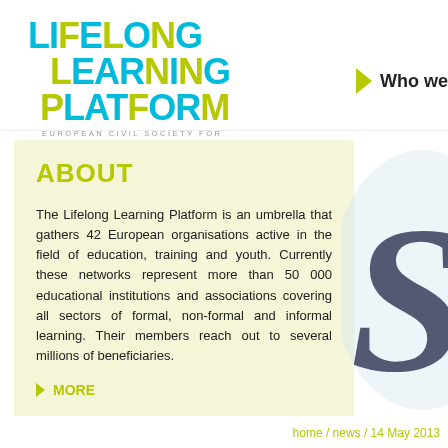[Figure (logo): Lifelong Learning Platform logo with cyan and yellow-green lettering, subtitle EUROPEAN CIVIL SOCIETY FOR EDUCATION]
[Figure (illustration): Yellow-green arrow pointing right next to bold text 'Who we' (partially visible navigation element)]
ABOUT
The Lifelong Learning Platform is an umbrella that gathers 42 European organisations active in the field of education, training and youth. Currently these networks represent more than 50 000 educational institutions and associations covering all sectors of formal, non-formal and informal learning. Their members reach out to several millions of beneficiaries.
MORE
[Figure (illustration): Decorative cursive script letter S on light blue/grey watermark background]
home / news / 14 May 2013